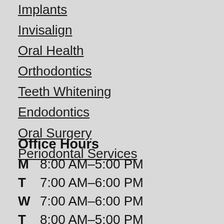Implants
Invisalign
Oral Health
Orthodontics
Teeth Whitening
Endodontics
Oral Surgery
Periodontal Services
Office Hours
| Day | Hours |
| --- | --- |
| M | 8:00 AM–5:00 PM |
| T | 7:00 AM–6:00 PM |
| W | 7:00 AM–6:00 PM |
| T | 8:00 AM–5:00 PM |
| F | 7:00 AM–3:00 PM |